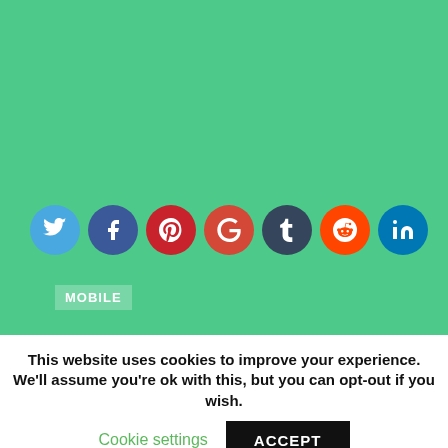[Figure (screenshot): Green background area with social media share icons (Twitter, Facebook, Pinterest, Google+, Tumblr, Reddit, LinkedIn) and a MOBILE category label]
This website uses cookies to improve your experience. We'll assume you're ok with this, but you can opt-out if you wish.
Cookie settings   ACCEPT